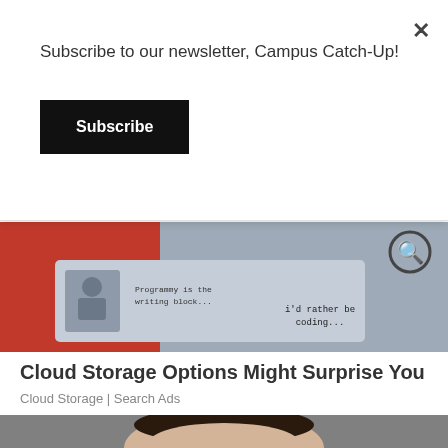Subscribe to our newsletter, Campus Catch-Up!
Subscribe
[Figure (photo): Photo showing a red background with a gray card reading 'id rather be coding...' and some text about programming]
Cloud Storage Options Might Surprise You
Cloud Storage | Search Ads
[Figure (photo): Portrait photo of a woman with dark hair pulled back, smiling slightly against a gray background]